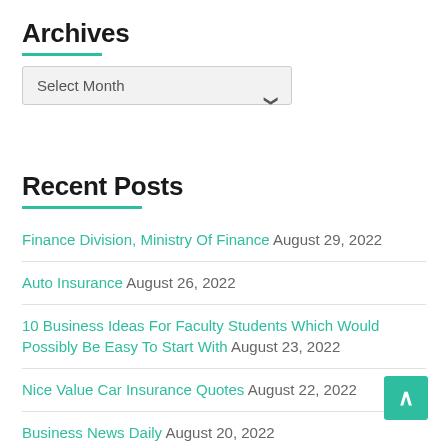Archives
Select Month (dropdown)
Recent Posts
Finance Division, Ministry Of Finance August 29, 2022
Auto Insurance August 26, 2022
10 Business Ideas For Faculty Students Which Would Possibly Be Easy To Start With August 23, 2022
Nice Value Car Insurance Quotes August 22, 2022
Business News Daily August 20, 2022
Menu
Business Ideas